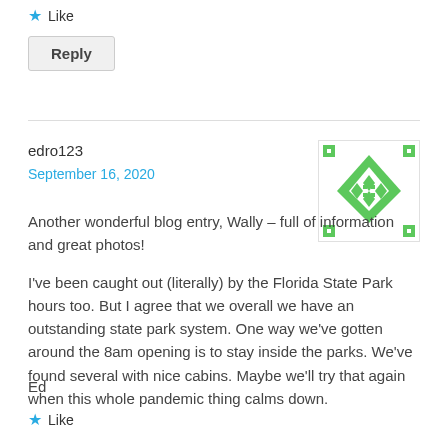★ Like
Reply
edro123
September 16, 2020
[Figure (illustration): Green pixel/geometric avatar icon with diamond and square pattern on white background]
Another wonderful blog entry, Wally – full of information and great photos!

I've been caught out (literally) by the Florida State Park hours too. But I agree that we overall we have an outstanding state park system. One way we've gotten around the 8am opening is to stay inside the parks. We've found several with nice cabins. Maybe we'll try that again when this whole pandemic thing calms down.

Ed
★ Like